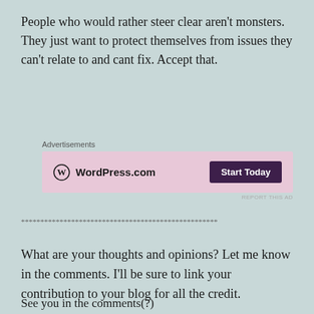People who would rather steer clear aren't monsters. They just want to protect themselves from issues they can't relate to and cant fix. Accept that.
[Figure (other): WordPress.com advertisement banner with pink background, WordPress logo on left and 'Start Today' dark button on right]
***************************************************
What are your thoughts and opinions? Let me know in the comments. I'll be sure to link your contribution to your blog for all the credit.
See you in the comments(?)